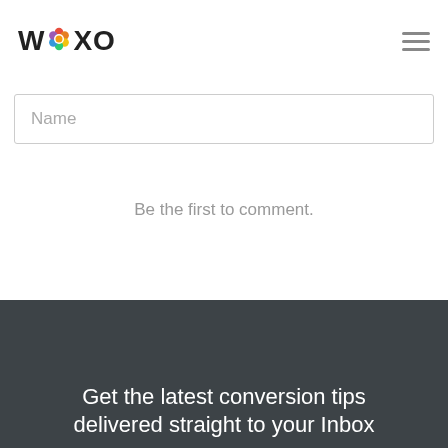WOXO
Name
Be the first to comment.
Subscribe  Add Disqus  Do Not Sell My Data  DISQUS
Get the latest conversion tips delivered straight to your Inbox